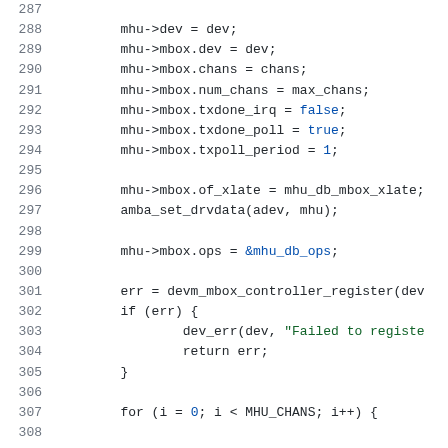Source code snippet, lines 287-307+, showing C code for mailbox controller initialization including mhu struct field assignments and devm_mbox_controller_register call.